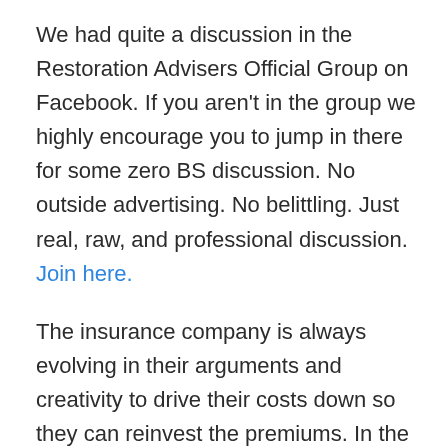We had quite a discussion in the Restoration Advisers Official Group on Facebook. If you aren't in the group we highly encourage you to jump in there for some zero BS discussion. No outside advertising. No belittling. Just real, raw, and professional discussion. Join here.
The insurance company is always evolving in their arguments and creativity to drive their costs down so they can reinvest the premiums. In the book Delay Deny Defend, the author describes insurance companies as investment companies. They invest the premiums and drive down costs by